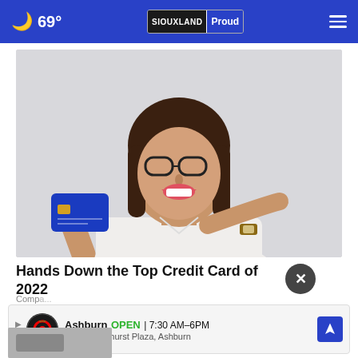69° SIOUXLAND Proud
[Figure (photo): Woman smiling and pointing at a blue credit card she is holding up, wearing glasses and a white shirt with a watch]
Hands Down the Top Credit Card of 2022
Comp...
[Figure (infographic): Advertisement banner: Ashburn OPEN 7:30 AM–6PM, 43781 Parkhurst Plaza, Ashburn, with Tires Plus Auto logo and navigation icon]